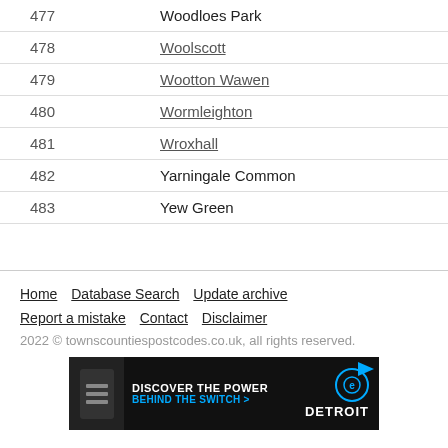| # | Name |
| --- | --- |
| 477 | Woodloes Park |
| 478 | Woolscott |
| 479 | Wootton Wawen |
| 480 | Wormleighton |
| 481 | Wroxhall |
| 482 | Yarningale Common |
| 483 | Yew Green |
Home   Database Search   Update archive   Report a mistake   Contact   Disclaimer
2022 © townscountiespostcodes.co.uk, all rights reserved.
[Figure (other): Advertisement banner: 'DISCOVER THE POWER BEHIND THE SWITCH > DETROIT' on dark background with Detroit Diesel logo]